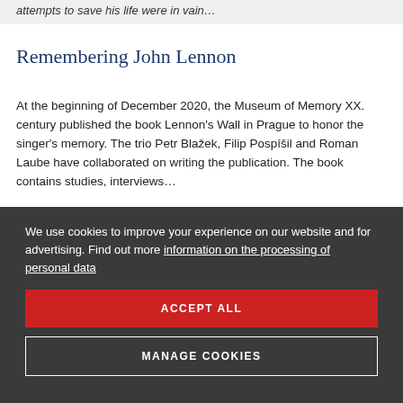attempts to save his life were in vain…
Remembering John Lennon
At the beginning of December 2020, the Museum of Memory XX. century published the book Lennon's Wall in Prague to honor the singer's memory. The trio Petr Blažek, Filip Pospíšil and Roman Laube have collaborated on writing the publication. The book contains studies, interviews…
We use cookies to improve your experience on our website and for advertising. Find out more information on the processing of personal data
ACCEPT ALL
MANAGE COOKIES